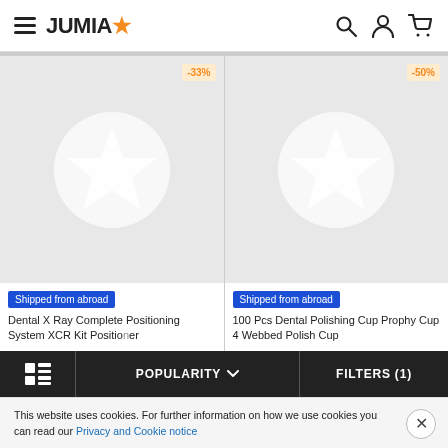JUMIA
[Figure (screenshot): Product card 1: Dental X Ray Complete Positioning System XCR Kit Positioner with -33% discount badge and Shipped from abroad label]
[Figure (screenshot): Product card 2: 100 Pcs Dental Polishing Cup Prophy Cup 4 Webbed Polish Cup with -50% discount badge and Shipped from abroad label]
POPULARITY
FILTERS (1)
This website uses cookies. For further information on how we use cookies you can read our Privacy and Cookie notice